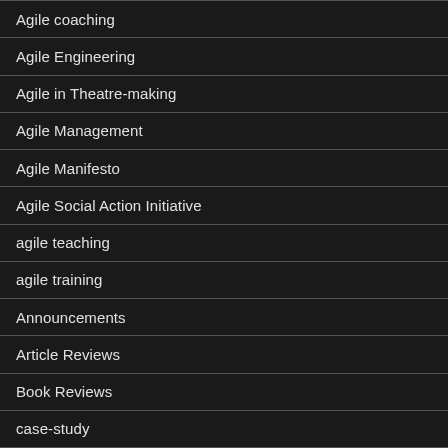Agile coaching
Agile Engineering
Agile in Theatre-making
Agile Management
Agile Manifesto
Agile Social Action Initiative
agile teaching
agile training
Announcements
Article Reviews
Book Reviews
case-study